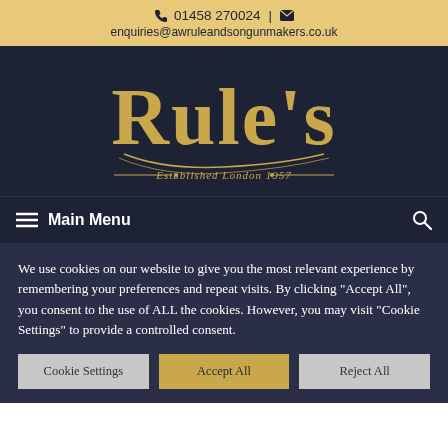📞 01458 270024 | ✉ enquiries@awruleandsongunmakers.co.uk
[Figure (logo): Rule's gunmakers logo in decorative blackletter/gothic font in gold on dark navy background, with tagline 'Established London 1957']
≡ Main Menu
We use cookies on our website to give you the most relevant experience by remembering your preferences and repeat visits. By clicking "Accept All", you consent to the use of ALL the cookies. However, you may visit "Cookie Settings" to provide a controlled consent.
Cookie Settings
Accept All
Reject All